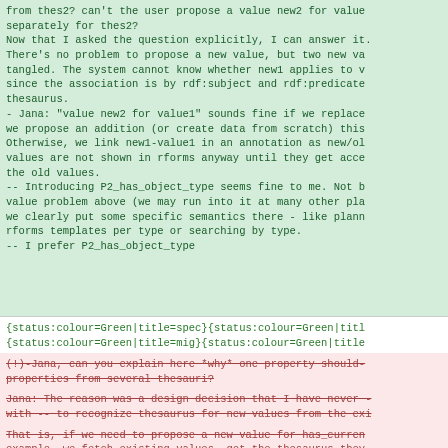from thes2? can't the user propose a value new2 for value
separately for thes2?
Now that I asked the question explicitly, I can answer it.
There's no problem to propose a new value, but two new va
tangled. The system cannot know whether new1 applies to v
since the association is by rdf:subject and rdf:predicate
thesaurus.
- Jana: "value new2 for value1" sounds fine if we replace
we propose an addition (or create data from scratch) this
Otherwise, we link new1-value1 in an annotation as new/ol
values are not shown in rforms anyway until they get acce
the old values.
-- Introducing P2_has_object_type seems fine to me. Not b
value problem above (we may run into it at many other pla
we clearly put some specific semantics there - like plann
rforms templates per type or searching by type.
-- I prefer P2_has_object_type
{status:colour=Green|title=spec}{status:colour=Green|titl
{status:colour=Green|title=mig}{status:colour=Green|title
(!)-Jana, can you explain here *why* one property should-
properties from several thesauri?

Jana: The reason was a design decision that I have never --
with -- to recognize thesaurus for new values from the exi

That is, if we need to propose a new value for has_curren
example, we fetch existing values, get the thesaurus they
present the user with autocomplete component that searche
from that thesaurus.

Keep in mind that for Stage 4, this won't work as --wi
Keep in mind that for Stage 4, this won't work as wi